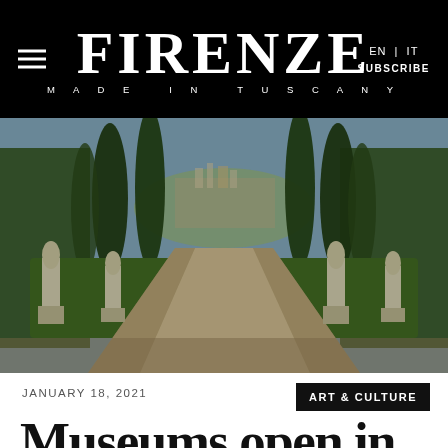FIRENZE MADE IN TUSCANY — EN | IT — SUBSCRIBE
[Figure (photo): Garden path in an Italian villa with tall cypress trees and sculpted hedgerows lining a gravel walkway. Four stone statues on pedestals flank the path, with a distant view of a hillside city through the trees.]
JANUARY 18, 2021
ART & CULTURE
Museums open in